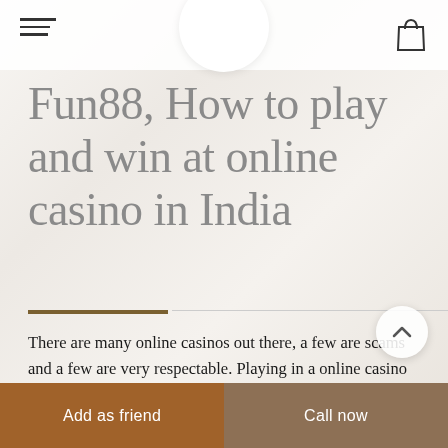Fun88 website header with hamburger menu, logo circle, and shopping bag icon
Fun88, How to play and win at online casino in India
There are many online casinos out there, a few are scams and a few are very respectable. Playing in a online casino has many blessings over a actual lifestyle casino. There casino is
Add as friend | Call now